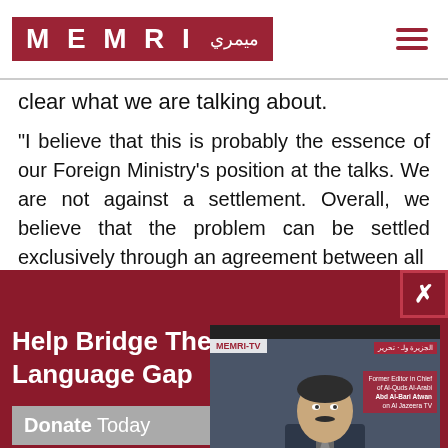[Figure (logo): MEMRI logo with Arabic text on dark red background, hamburger menu icon on right]
clear what we are talking about.
"I believe that this is probably the essence of our Foreign Ministry’s position at the talks. We are not against a settlement. Overall, we believe that the problem can be settled exclusively through an agreement between all
[Figure (screenshot): MEMRI-TV video player showing a man in a suit at a podium. Subtitle reads: what I say in Arabic is completely different from what I say in English. Red close button top right.]
Help Bridge The Language Gap
Donate Today
Free Subscription